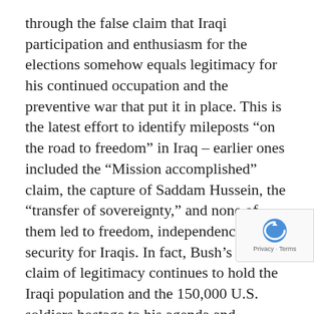through the false claim that Iraqi participation and enthusiasm for the elections somehow equals legitimacy for his continued occupation and the preventive war that put it in place. This is the latest effort to identify mileposts “on the road to freedom” in Iraq – earlier ones included the “Mission accomplished” claim, the capture of Saddam Hussein, the “transfer of sovereignty,” and none of them led to freedom, independence and security for Iraqis. In fact, Bush’s false claim of legitimacy continues to hold the Iraqi population and the 150,000 U.S. soldiers hostage to his agenda and occupation.
The Bush administration’s goal is to increase the legitimacy of the occupation and the broader Iraq project, including a more vigorous counter-insurgency war, in the eyes of Americans and international public and governmental opinion.